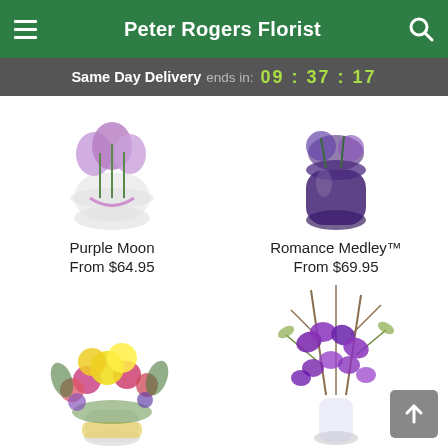Peter Rogers Florist
Same Day Delivery ends in: 09 : 37 : 17
[Figure (photo): Purple moon flower arrangement in a clear round vase with purple flowers and green stems]
Purple Moon
From $64.95
[Figure (photo): Romance Medley flower arrangement in a dark purple vase]
Romance Medley™
From $69.95
[Figure (photo): Colorful flower bouquet with yellow roses, pink flowers, and mixed blooms in a clear vase with yellow ribbon]
[Figure (photo): Tall purple orchid arrangement with green branches in a clear glass vase]